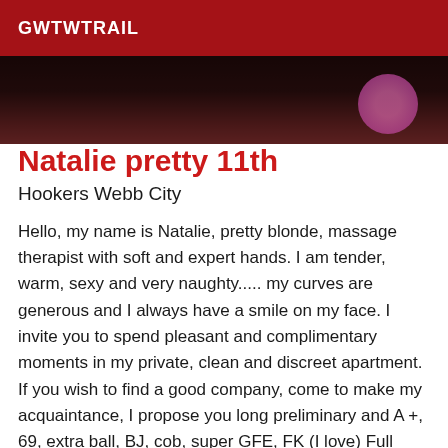GWTWTRAIL
[Figure (photo): Partial photo of a person, dark tones with pink/purple accent in background, cropped at top of page]
Natalie pretty 11th
Hookers Webb City
Hello, my name is Natalie, pretty blonde, massage therapist with soft and expert hands. I am tender, warm, sexy and very naughty..... my curves are generous and I always have a smile on my face. I invite you to spend pleasant and complimentary moments in my private, clean and discreet apartment. If you wish to find a good company, come to make my acquaintance, I propose you long preliminary and A +, 69, extra ball, BJ, cob, super GFE, FK (I love) Full Body Massage sensual ... shower together, I receive with pleasure the gentlemen. respect, hygiene, good humor, are essential to the success of our appointment! I'm in 11th metro voltaire Ps: The photos are real, I am blonde with fair skin and